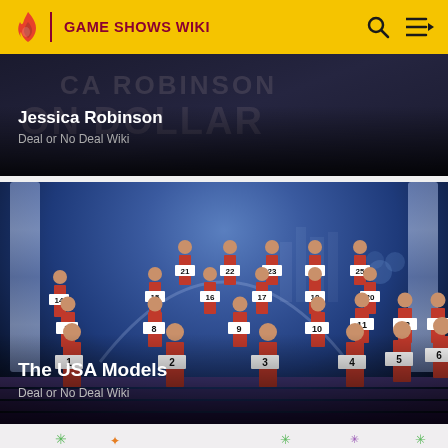GAME SHOWS WIKI
[Figure (screenshot): Card showing Jessica Robinson from Deal or No Deal Wiki with dark background showing faint text 'NICA ROBINSON' and 'ON DOLLAR']
Jessica Robinson
Deal or No Deal Wiki
[Figure (photo): Photo of The USA Models from Deal or No Deal - women in red dresses standing on a stage holding numbered briefcases 1-26, with a glittering stage set background]
The USA Models
Deal or No Deal Wiki
[Figure (photo): Partial view of another card at the bottom with colorful confetti/fireworks decorations on a light background]